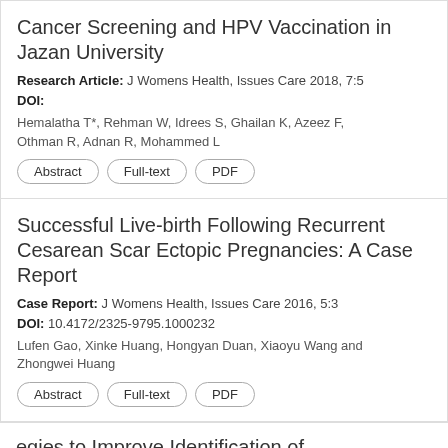Cancer Screening and HPV Vaccination in Jazan University
Research Article: J Womens Health, Issues Care 2018, 7:5
DOI:
Hemalatha T*, Rehman W, Idrees S, Ghailan K, Azeez F, Othman R, Adnan R, Mohammed L
Abstract
Full-text
PDF
Successful Live-birth Following Recurrent Cesarean Scar Ectopic Pregnancies: A Case Report
Case Report: J Womens Health, Issues Care 2016, 5:3
DOI: 10.4172/2325-9795.1000232
Lufen Gao, Xinke Huang, Hongyan Duan, Xiaoyu Wang and Zhongwei Huang
Abstract
Full-text
PDF
egies to Improve Identification of Postpartum Depression, Fo Continuity of Care among W